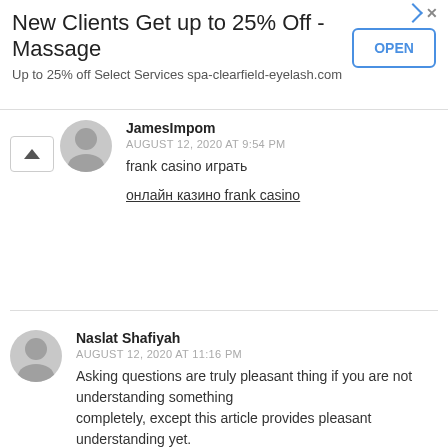[Figure (infographic): Advertisement banner: New Clients Get up to 25% Off - Massage. Up to 25% off Select Services spa-clearfield-eyelash.com. OPEN button in blue border.]
JamesImpom
AUGUST 12, 2020 AT 9:54 PM
frank casino играть
онлайн казино frank casino
Naslat Shafiyah
AUGUST 12, 2020 AT 11:16 PM
Asking questions are truly pleasant thing if you are not understanding something completely, except this article provides pleasant understanding yet.
Stop by my web blog: Naslat Shafiyah